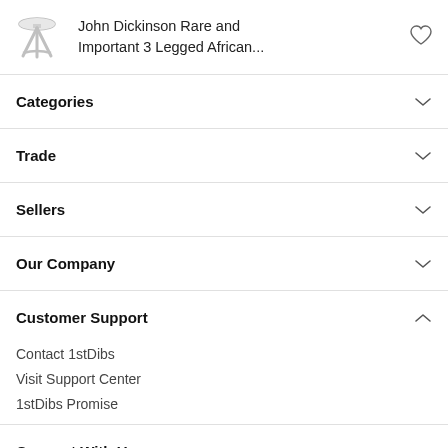John Dickinson Rare and Important 3 Legged African...
Categories
Trade
Sellers
Our Company
Customer Support
Contact 1stDibs
Visit Support Center
1stDibs Promise
Connect With Us